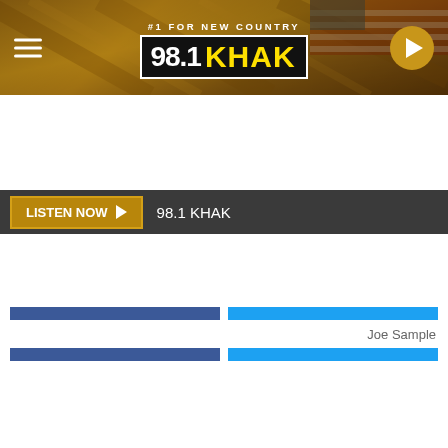#1 FOR NEW COUNTRY 98.1 KHAK
LISTEN NOW  98.1 KHAK
Share
Tweet
[Figure (photo): Interior of a restaurant/bar showing warm amber-lit ceiling and wooden beams]
Joe Sample
[Figure (photo): Interior of a bar/restaurant with stained glass yellow panels on the wall, chandeliers, and dark wood furnishings]